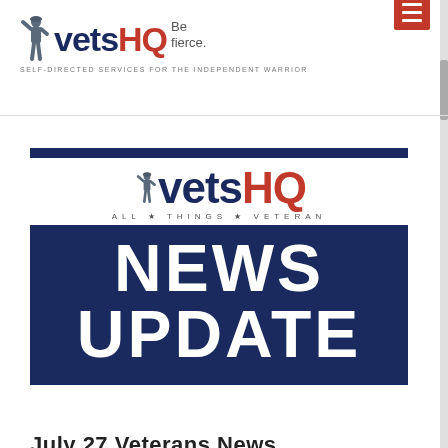vetsHQ Be fierce. SELF-DIRECTED SERVICES FOR THE INDEPENDENT WARRIOR
[Figure (logo): VetsHQ News Update banner image with logo and 'ALL THINGS VETERAN' tagline, dark navy background with 'NEWS UPDATE' in large white text]
July 27 Veterans News
By vetshq on July 27, 2016